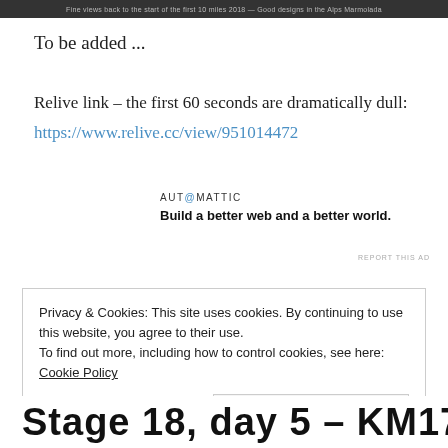[Figure (photo): Dark banner image at top of page with small light text]
To be added ...
Relive link – the first 60 seconds are dramatically dull:
https://www.relive.cc/view/951014472
[Figure (other): Automattic advertisement: AUTOMATTIC logo and tagline 'Build a better web and a better world.']
REPORT THIS AD
Privacy & Cookies: This site uses cookies. By continuing to use this website, you agree to their use.
To find out more, including how to control cookies, see here: Cookie Policy
Close and accept
Stage 18, day 5 – KM17 to